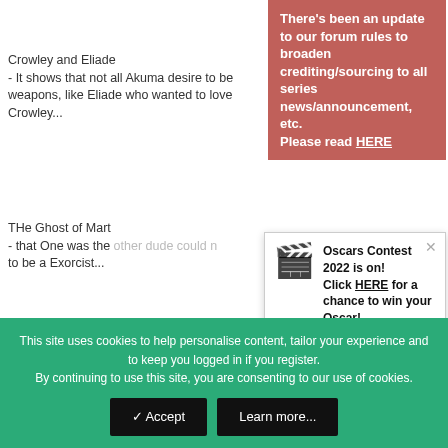Crowley and Eliade
- It shows that not all Akuma desire to be weapons, like Eliade who wanted to love Crowley...
[Figure (screenshot): Red banner notification: There's been an update to our forum rules to broaden crediting/sourcing to all series news/announcement, etc. Please read HERE]
THe Ghost of Mart
- that One was the other dude could n to be a Exorcist...
[Figure (screenshot): Oscars Contest 2022 popup: Oscars Contest 2022 is on! Click HERE for a chance to win your Oscar! with film clapperboard icon]
The Fallen One
- That where u acu Dark stills scares m
The Saint Fell Into
- When Lenalee actually plans to sacrifice her life just to protect the ship, pretty sad
[Figure (screenshot): MH Awards popup: It's back! MH presents a celebration of manga/anime culture; Mangahelpers Awards 2022 is NOW LIVE! with star laurel wreath icon]
This site uses cookies to help personalise content, tailor your experience and to keep you logged in if you register.
By continuing to use this site, you are consenting to our use of cookies.